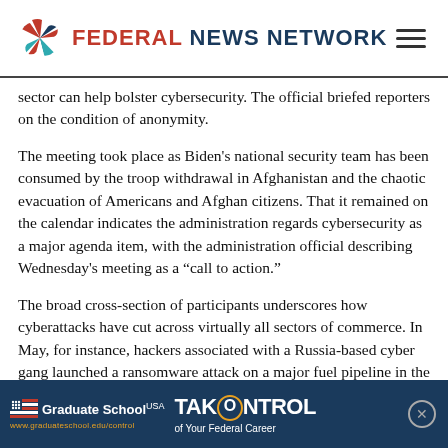FEDERAL NEWS NETWORK
sector can help bolster cybersecurity. The official briefed reporters on the condition of anonymity.
The meeting took place as Biden's national security team has been consumed by the troop withdrawal in Afghanistan and the chaotic evacuation of Americans and Afghan citizens. That it remained on the calendar indicates the administration regards cybersecurity as a major agenda item, with the administration official describing Wednesday's meeting as a “call to action.”
The broad cross-section of participants underscores how cyberattacks have cut across virtually all sectors of commerce. In May, for instance, hackers associated with a Russia-based cyber gang launched a ransomware attack on a major fuel pipeline in the U.S., causing the pipeline to temporarily halt operations. Weeks later, the world’s largest meat processor, JBS, w…
[Figure (advertisement): Graduate School USA - Take Control of Your Federal Career advertisement banner]